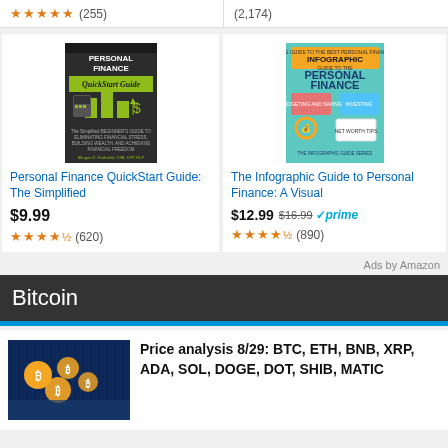★★★★★ (255)
(2,174)
[Figure (illustration): Personal Finance QuickStart Guide book cover — dark background with green/yellow bar chart icons and calculator]
Personal Finance QuickStart Guide: The Simplified
$9.99
★★★★½ (620)
[Figure (illustration): The Infographic Guide to Personal Finance book cover — teal/colorful with infographic icons]
The Infographic Guide to Personal Finance: A Visual
$12.99 $16.99 ✓prime
★★★★½ (890)
Ads by Amazon
Bitcoin
[Figure (photo): Cryptocurrency/Bitcoin themed photo with gold coins on circuit board background]
Price analysis 8/29: BTC, ETH, BNB, XRP, ADA, SOL, DOGE, DOT, SHIB, MATIC